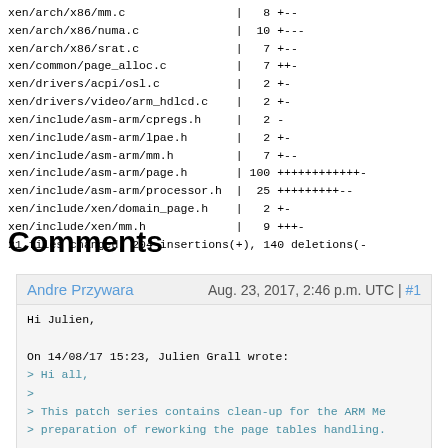xen/arch/x86/mm.c                |   8 +--
xen/arch/x86/numa.c              |  10 +---
xen/arch/x86/srat.c              |   7 +--
xen/common/page_alloc.c          |   7 ++-
xen/drivers/acpi/osl.c           |   2 +-
xen/drivers/video/arm_hdlcd.c    |   2 +-
xen/include/asm-arm/cpregs.h     |   2 -
xen/include/asm-arm/lpae.h       |   2 +-
xen/include/asm-arm/mm.h         |   7 +--
xen/include/asm-arm/page.h       | 100 +++++++++++-
xen/include/asm-arm/processor.h  |  25 +++++++++--
xen/include/xen/domain_page.h    |   2 +-
xen/include/xen/mm.h             |   9 +++-
21 files changed, 204 insertions(+), 140 deletions(-
Comments
Andre Przywara    Aug. 23, 2017, 2:46 p.m. UTC | #1
Hi Julien,

On 14/08/17 15:23, Julien Grall wrote:
> Hi all,
>
> This patch series contains clean-up for the ARM Me
> preparation of reworking the page tables handling.

thanks for the work!
I wonder with the review others...